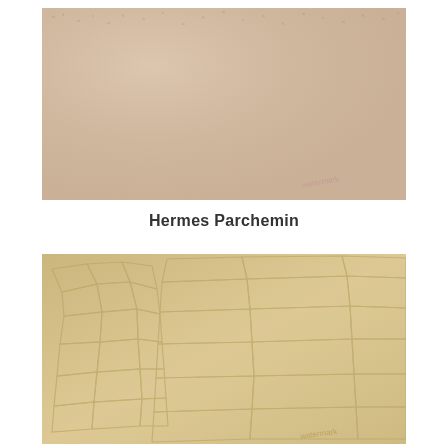[Figure (photo): Close-up photo of Hermes Parchemin leather texture — a fine-grained, pebbled beige/cream leather surface with a subtle pink watermark stamp visible in the lower right corner]
Hermes Parchemin
[Figure (photo): Close-up photo of a crocodile or alligator leather texture in a sandy/golden-beige color, showing the characteristic large scale pattern with irregular polygon cells across the surface, with a faint watermark stamp in the lower right corner]